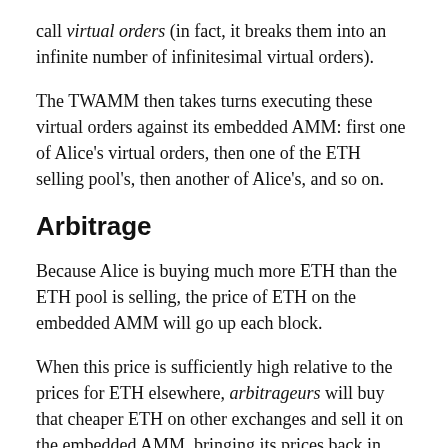call virtual orders (in fact, it breaks them into an infinite number of infinitesimal virtual orders).
The TWAMM then takes turns executing these virtual orders against its embedded AMM: first one of Alice's virtual orders, then one of the ETH selling pool's, then another of Alice's, and so on.
Arbitrage
Because Alice is buying much more ETH than the ETH pool is selling, the price of ETH on the embedded AMM will go up each block.
When this price is sufficiently high relative to the prices for ETH elsewhere, arbitrageurs will buy that cheaper ETH on other exchanges and sell it on the embedded AMM, bringing its prices back in line with the market average and ensuring good execution for Alice.